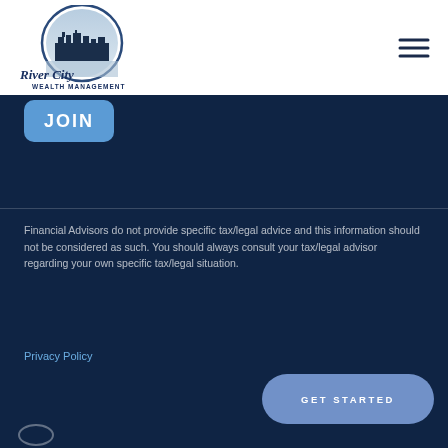[Figure (logo): River City Wealth Management logo with cityscape silhouette inside a circular emblem and cursive/sans-serif text]
[Figure (other): Hamburger menu icon (three horizontal lines) in top right corner]
JOIN
Financial Advisors do not provide specific tax/legal advice and this information should not be considered as such. You should always consult your tax/legal advisor regarding your own specific tax/legal situation.
Privacy Policy
GET STARTED